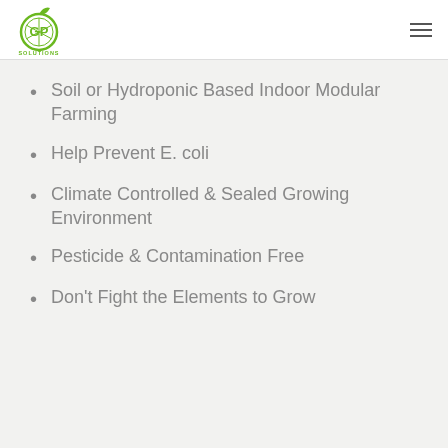OGP Solutions
Soil or Hydroponic Based Indoor Modular Farming
Help Prevent E. coli
Climate Controlled & Sealed Growing Environment
Pesticide & Contamination Free
Don't Fight the Elements to Grow